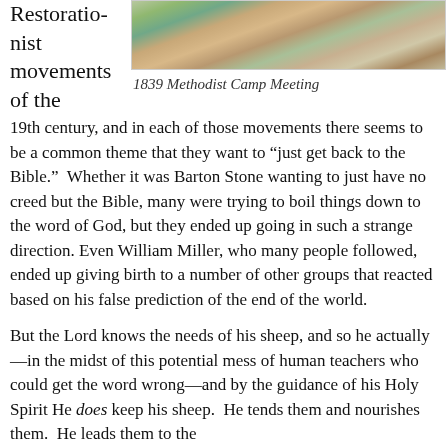Restorationist movements of the
[Figure (photo): Painting of a 1839 Methodist Camp Meeting outdoor revival scene with many figures]
1839 Methodist Camp Meeting
19th century, and in each of those movements there seems to be a common theme that they want to “just get back to the Bible.”  Whether it was Barton Stone wanting to just have no creed but the Bible, many were trying to boil things down to the word of God, but they ended up going in such a strange direction. Even William Miller, who many people followed, ended up giving birth to a number of other groups that reacted based on his false prediction of the end of the world.
But the Lord knows the needs of his sheep, and so he actually—in the midst of this potential mess of human teachers who could get the word wrong—and by the guidance of his Holy Spirit He does keep his sheep.  He tends them and nourishes them.  He leads them to the